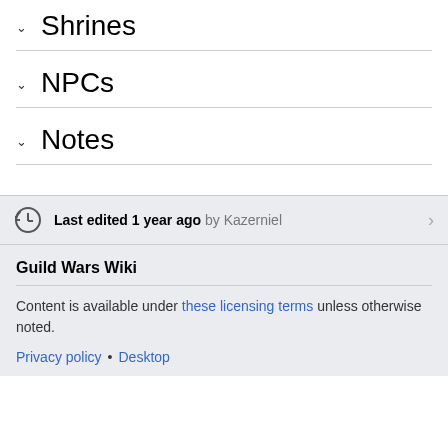Shrines
NPCs
Notes
Last edited 1 year ago by Kazerniel
Guild Wars Wiki
Content is available under these licensing terms unless otherwise noted.
Privacy policy • Desktop